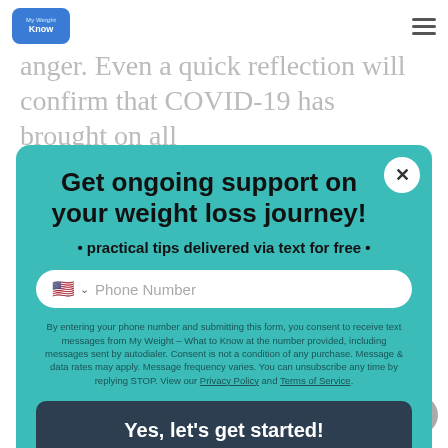My Weight – What to Know [logo] [hamburger menu]
anger. Even a quick reflection will confirm that COVID-19 has brought on all
[Figure (screenshot): Modal popup with teal background on a health/weight-loss website. Contains title 'Get ongoing support on your weight loss journey!', subtitle '• practical tips delivered via text for free •', a phone number input field with US flag and dropdown, consent text, and a dark 'Yes, let's get started!' CTA button. Has a close (X) button in top-right corner.]
requiring a respirator is greater. So, I am concerned that perhaps those living with obesity...